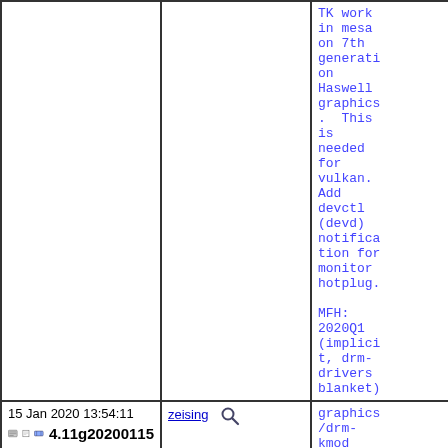TK work in mesa on 7th generation Haswell graphics. This is needed for vulkan. Add devctl (devd) notification for monitor hotplug.

MFH: 2020Q1 (implicit, drm-drivers blanket)
15 Jan 2020 13:54:11
4.11g20200115
zeising
graphics/drm-kmod ports: Update